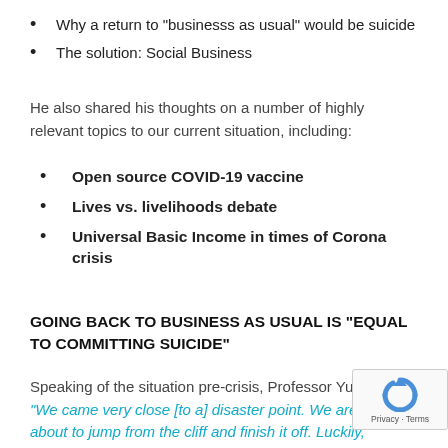Why a return to “businesss as usual” would be suicide
The solution: Social Business
He also shared his thoughts on a number of highly relevant topics to our current situation, including:
Open source COVID-19 vaccine
Lives vs. livelihoods debate
Universal Basic Income in times of Corona crisis
GOING BACK TO BUSINESS AS USUAL IS “EQUAL TO COMMITTING SUICIDE”
Speaking of the situation pre-crisis, Professor Yunu “We came very close [to a] disaster point. We are ju about to jump from the cliff and finish it off. Luckily,